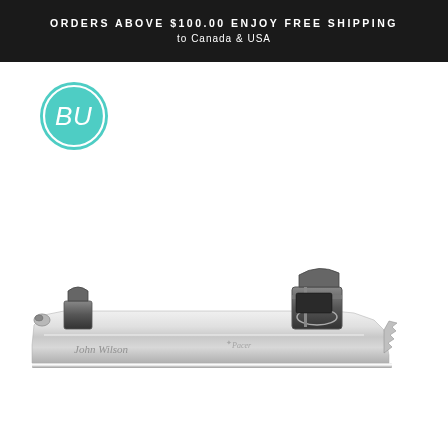ORDERS ABOVE $100.00 ENJOY FREE SHIPPING to Canada & USA
[Figure (logo): BU brand logo — teal circle with stylized letters B and U in white outline script]
[Figure (photo): John Wilson ice skate blade, silver/chrome finish, shown in profile view against white background. Blade has the John Wilson signature and 'Pacer' model text engraved on it, with toe picks at the right end and mounting hardware visible.]